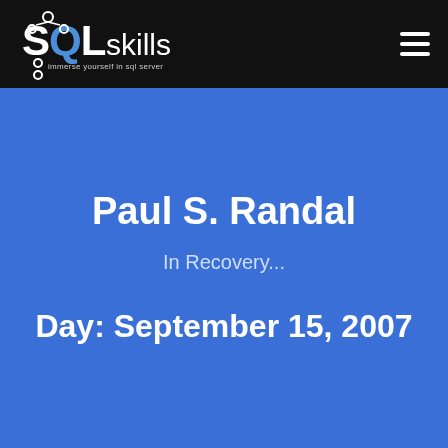SQLskills – immerse yourself in sql server
Paul S. Randal
In Recovery...
Day: September 15, 2007